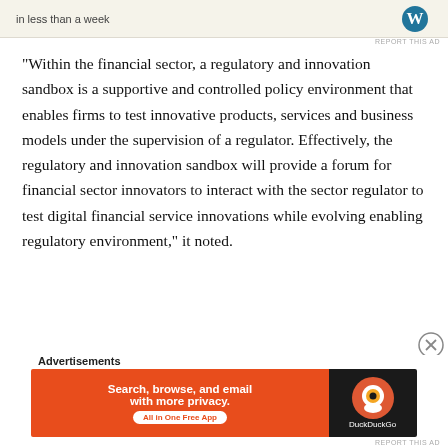[Figure (other): Top advertisement banner with text 'in less than a week' and WordPress logo on a beige background]
“Within the financial sector, a regulatory and innovation sandbox is a supportive and controlled policy environment that enables firms to test innovative products, services and business models under the supervision of a regulator. Effectively, the regulatory and innovation sandbox will provide a forum for financial sector innovators to interact with the sector regulator to test digital financial service innovations while evolving enabling regulatory environment,” it noted.
[Figure (other): Bottom advertisement for DuckDuckGo: 'Search, browse, and email with more privacy. All in One Free App' on orange and dark background with DuckDuckGo logo]